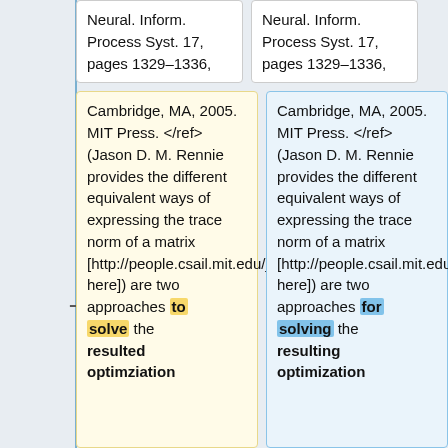Neural. Inform. Process Syst. 17, pages 1329–1336,
Neural. Inform. Process Syst. 17, pages 1329–1336,
Cambridge, MA, 2005. MIT Press. </ref> (Jason D. M. Rennie provides the different equivalent ways of expressing the trace norm of a matrix [http://people.csail.mit.edu/jrennie/writing/traceEquivalence.pdf here]) are two approaches to solve the resulted optimziation
Cambridge, MA, 2005. MIT Press. </ref> (Jason D. M. Rennie provides the different equivalent ways of expressing the trace norm of a matrix [http://people.csail.mit.edu/jrennie/writing/traceEquivalence.pdf here]) are two approaches for solving the resulting optimization